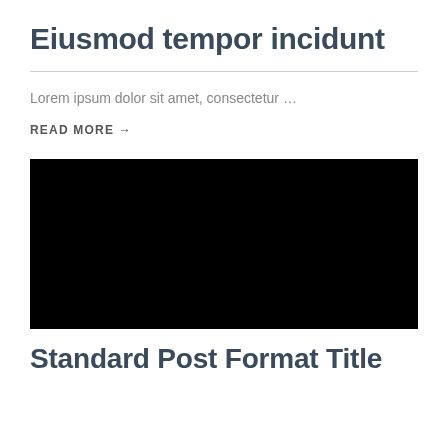Eiusmod tempor incidunt
Lorem ipsum dolor sit amet, consectetur …
READ MORE →
[Figure (photo): Black rectangular image block]
Standard Post Format Title